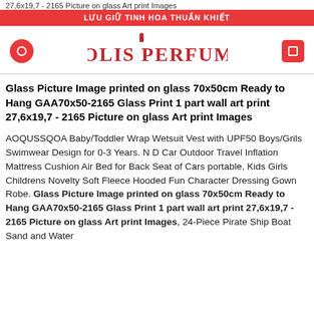27,6x19,7 - 2165 Picture on glass Art print Images
LƯU GIỮ TINH HOA THUẦN KHIẾT
[Figure (logo): Dolis Perfume logo with red circular and square navigation buttons on sides]
Glass Picture Image printed on glass 70x50cm Ready to Hang GAA70x50-2165 Glass Print 1 part wall art print 27,6x19,7 - 2165 Picture on glass Art print Images
AOQUSSQOA Baby/Toddler Wrap Wetsuit Vest with UPF50 Boys/Grils Swimwear Design for 0-3 Years. N D Car Outdoor Travel Inflation Mattress Cushion Air Bed for Back Seat of Cars portable, Kids Girls Childrens Novelty Soft Fleece Hooded Fun Character Dressing Gown Robe. Glass Picture Image printed on glass 70x50cm Ready to Hang GAA70x50-2165 Glass Print 1 part wall art print 27,6x19,7 - 2165 Picture on glass Art print Images, 24-Piece Pirate Ship Boat Sand and Water